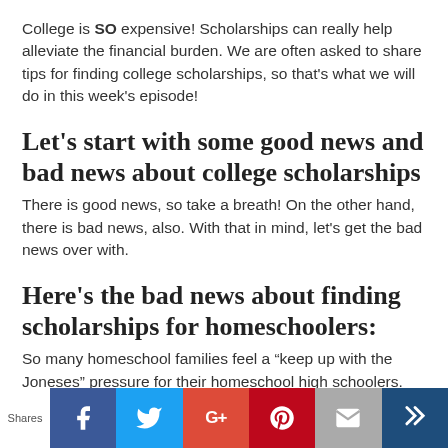College is SO expensive! Scholarships can really help alleviate the financial burden. We are often asked to share tips for finding college scholarships, so that's what we will do in this week's episode!
Let's start with some good news and bad news about college scholarships
There is good news, so take a breath! On the other hand, there is bad news, also. With that in mind, let's get the bad news over with.
Here's the bad news about finding scholarships for homeschoolers:
So many homeschool families feel a “keep up with the Joneses” pressure for their homeschool high schoolers. The pressure tells them that their teens must have a full-ride scholarship to college…or else
Shares | Facebook | Twitter | Google+ | Pinterest | Email | Crown